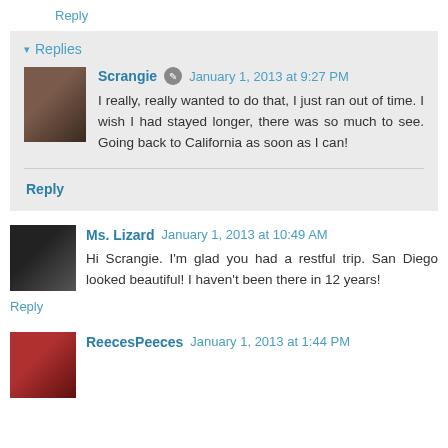Reply
▾ Replies
Scrangie  January 1, 2013 at 9:27 PM
I really, really wanted to do that, I just ran out of time. I wish I had stayed longer, there was so much to see. Going back to California as soon as I can!
Reply
Ms. Lizard  January 1, 2013 at 10:49 AM
Hi Scrangie. I'm glad you had a restful trip. San Diego looked beautiful! I haven't been there in 12 years!
Reply
ReecesPeeces  January 1, 2013 at 1:44 PM